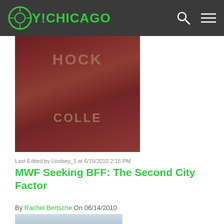OY!CHICAGO
[Figure (photo): Close-up photo of a person wearing a dark red leather jacket over a shirt with partial text reading 'HOCK' and 'COLLE']
Last Edited by Lindsey_1 at 6/15/2010 2:15 PM
MWF Seeking BFF: The Second City Factor
By Rachel Bertsche On 06/14/2010
[Figure (photo): Photo of a person with curly hair in front of a city skyline]